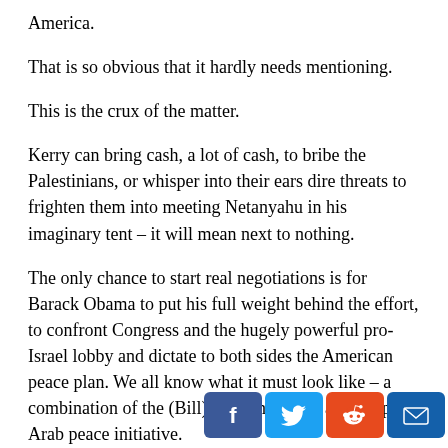America.
That is so obvious that it hardly needs mentioning.
This is the crux of the matter.
Kerry can bring cash, a lot of cash, to bribe the Palestinians, or whisper into their ears dire threats to frighten them into meeting Netanyahu in his imaginary tent – it will mean next to nothing.
The only chance to start real negotiations is for Barack Obama to put his full weight behind the effort, to confront Congress and the hugely powerful pro-Israel lobby and dictate to both sides the American peace plan. We all know what it must look like – a combination of the (Bill) Clinton outline and the pan-Arab peace initiative.
If John Kerry is unable to deliver this, he should not even try. It really is an important...